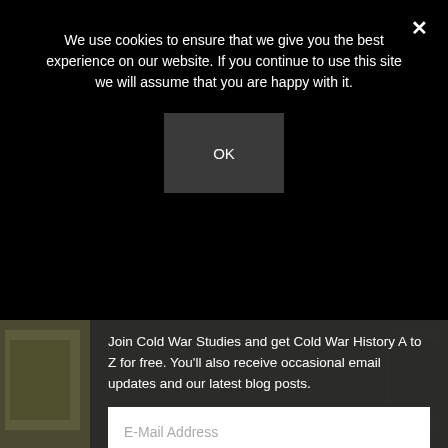We use cookies to ensure that we give you the best experience on our website. If you continue to use this site we will assume that you are happy with it.
OK
×
[Figure (photo): Background photo of soldiers in military uniforms, visible on left and right sides behind the overlaid modal panels.]
Join Cold War Studies and get Cold War History A to Z for free. You'll also receive occasional email updates and our latest blog posts.
E-Mail Address
SIGN UP NOW
We respect your privacy and will never share your information